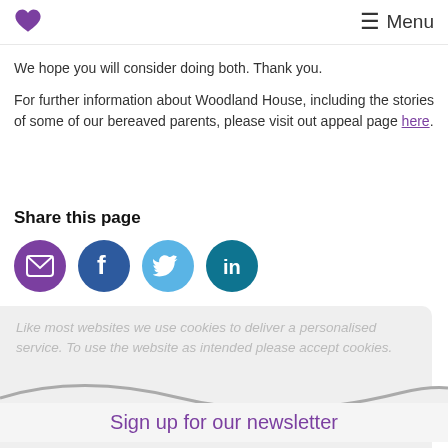Menu
We hope you will consider doing both. Thank you.
For further information about Woodland House, including the stories of some of our bereaved parents, please visit out appeal page here.
Share this page
[Figure (infographic): Four social sharing icon circles: email (purple), Facebook (dark blue), Twitter (light blue), LinkedIn (teal)]
Like most websites we use cookies to deliver a personalised service. To use the website as intended please accept cookies.
Sign up for our newsletter